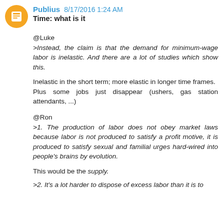[Figure (illustration): Orange circular avatar with a white blogger/person icon]
Publius 8/17/2016 1:24 AM
Time: what is it
@Luke
>Instead, the claim is that the demand for minimum-wage labor is inelastic. And there are a lot of studies which show this.

Inelastic in the short term; more elastic in longer time frames.
Plus some jobs just disappear (ushers, gas station attendants, ...)

@Ron
>1. The production of labor does not obey market laws because labor is not produced to satisfy a profit motive, it is produced to satisfy sexual and familial urges hard-wired into people's brains by evolution.

This would be the supply.

>2. It's a lot harder to dispose of excess labor than it is to